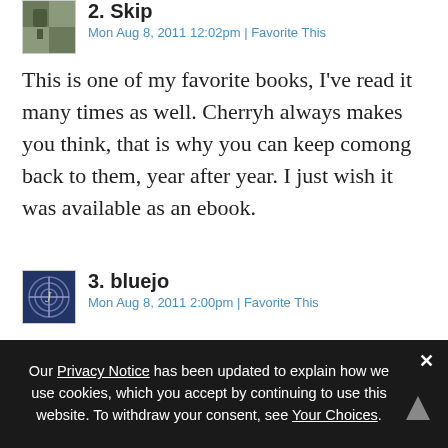2. Skip
Mon Aug 8, 2011 12:02pm | Favorite This
This is one of my favorite books, I've read it many times as well. Cherryh always makes you think, that is why you can keep comong back to them, year after year. I just wish it was available as an ebook.
3. bluejo
Mon Aug 8, 2011 2:00pm | Favorite This
Cherryh is putting a lot of her backlist online as e-books you can buy directly from her. I don't know if she has plans for Cyteen, but it might be worth checking.
Our Privacy Notice has been updated to explain how we use cookies, which you accept by continuing to use this website. To withdraw your consent, see Your Choices.